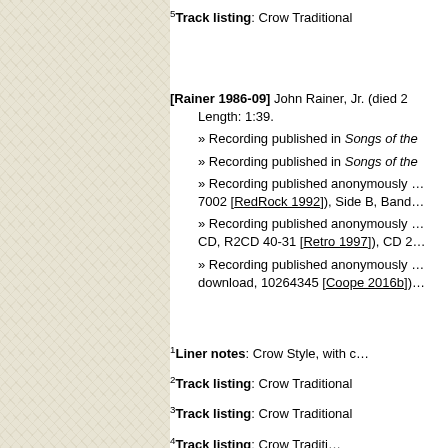5Track listing: Crow Traditional
[Rainer 1986-09] John Rainer, Jr. (died 2… Length: 1:39.
» Recording published in Songs of th…
» Recording published in Songs of th…
» Recording published anonymously … 7002 [RedRock 1992]), Side B, Band…
» Recording published anonymously … CD, R2CD 40-31 [Retro 1997]), CD 2…
» Recording published anonymously … download, 10264345 [Coope 2016b])…
1Liner notes: Crow Style, with c…
2Track listing: Crow Traditional
3Track listing: Crow Traditional
4Track listing: Crow Traditi…